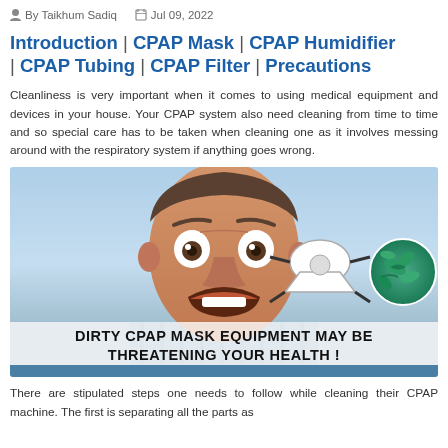By Taikhum Sadiq   Jul 09, 2022
Introduction | CPAP Mask | CPAP Humidifier | CPAP Tubing | CPAP Filter | Precautions
Cleanliness is very important when it comes to using medical equipment and devices in your house. Your CPAP system also need cleaning from time to time and so special care has to be taken when cleaning one as it involves messing around with the respiratory system if anything goes wrong.
[Figure (photo): A wide-eyed man with mouth open in shock/surprise expression against a light blue background, with a CPAP mask illustration and a green circle with bacteria/germs in the lower right. Text overlay reads: DIRTY CPAP MASK EQUIPMENT MAY BE THREATENING YOUR HEALTH!]
There are stipulated steps one needs to follow while cleaning their CPAP machine. The first is separating all the parts as